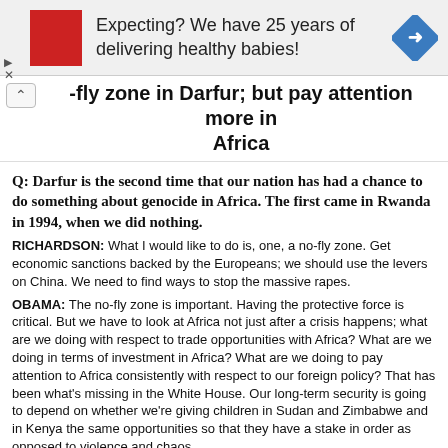[Figure (other): Advertisement banner: red square logo image on left, text 'Expecting? We have 25 years of delivering healthy babies!', blue diamond navigation icon on right, with close/collapse controls]
-fly zone in Darfur; but pay attention more in Africa
Q: Darfur is the second time that our nation has had a chance to do something about genocide in Africa. The first came in Rwanda in 1994, when we did nothing.
RICHARDSON: What I would like to do is, one, a no-fly zone. Get economic sanctions backed by the Europeans; we should use the levers on China. We need to find ways to stop the massive rapes.
OBAMA: The no-fly zone is important. Having the protective force is critical. But we have to look at Africa not just after a crisis happens; what are we doing with respect to trade opportunities with Africa? What are we doing in terms of investment in Africa? What are we doing to pay attention to Africa consistently with respect to our foreign policy? That has been what's missing in the White House. Our long-term security is going to depend on whether we're giving children in Sudan and Zimbabwe and in Kenya the same opportunities so that they have a stake in order as opposed to violence and chaos.
Source: 2007 Democratic Primary Debate at Howard University , Jun 28, 2007
U.S. funds for humanitarian aid to Darfur